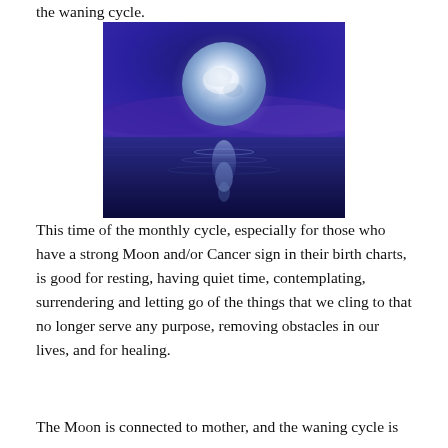the waning cycle.
[Figure (photo): Full moon glowing large and luminous above a calm ocean at night, with a purple-blue sky and moonlight reflecting off the water.]
This time of the monthly cycle, especially for those who have a strong Moon and/or Cancer sign in their birth charts, is good for resting, having quiet time, contemplating, surrendering and letting go of the things that we cling to that no longer serve any purpose, removing obstacles in our lives, and for healing.
The Moon is connected to mother, and the waning cycle is